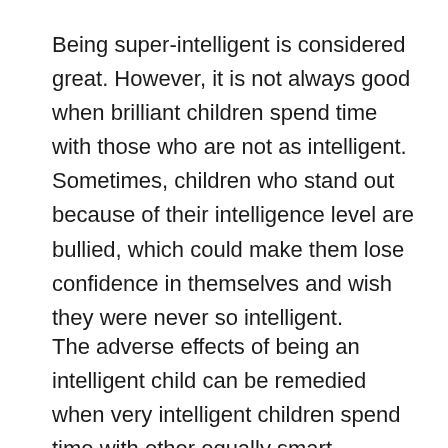Being super-intelligent is considered great. However, it is not always good when brilliant children spend time with those who are not as intelligent. Sometimes, children who stand out because of their intelligence level are bullied, which could make them lose confidence in themselves and wish they were never so intelligent.
The adverse effects of being an intelligent child can be remedied when very intelligent children spend time with other equally smart